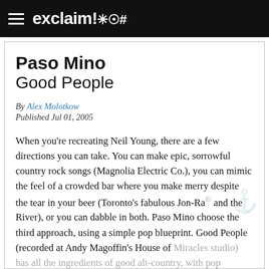exclaim!*@#
Paso Mino
Good People
By Alex Molotkow
Published Jul 01, 2005
When you're recreating Neil Young, there are a few directions you can take. You can make epic, sorrowful country rock songs (Magnolia Electric Co.), you can mimic the feel of a crowded bar where you make merry despite the tear in your beer (Toronto's fabulous Jon-Rae and the River), or you can dabble in both. Paso Mino choose the third approach, using a simple pop blueprint. Good People (recorded at Andy Magoffin's House of Miracles studio) has all the ingredients of good alt-country, with pop inspirations figuring as obviously as